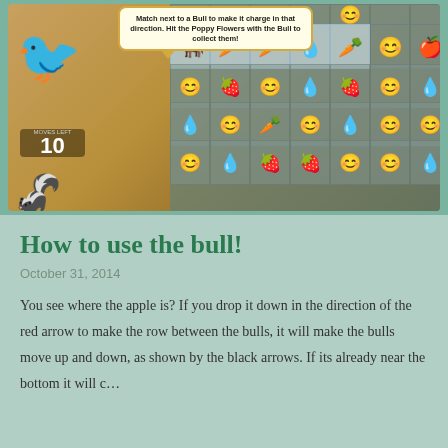[Figure (screenshot): Screenshot of a match-3 mobile game showing a game board with fruit/vegetable characters, a bull piece, a bird character on the left, a skunk character at the bottom left, a moves counter showing '10', and a tooltip bubble with instructions about using a bull mechanic to collect Poppy Flowers.]
How to use the bull!
October 31, 2014
You see where the apple is? If you drop it down in the direction of the red arrow to make the row between the bulls, it will make the bulls move up and down, as shown by the black arrows. If its already near the bottom it will c…